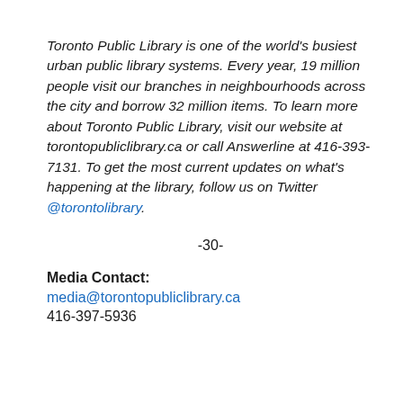Toronto Public Library is one of the world's busiest urban public library systems. Every year, 19 million people visit our branches in neighbourhoods across the city and borrow 32 million items. To learn more about Toronto Public Library, visit our website at torontopubliclibrary.ca or call Answerline at 416-393-7131. To get the most current updates on what's happening at the library, follow us on Twitter @torontolibrary.
-30-
Media Contact:
media@torontopubliclibrary.ca
416-397-5936